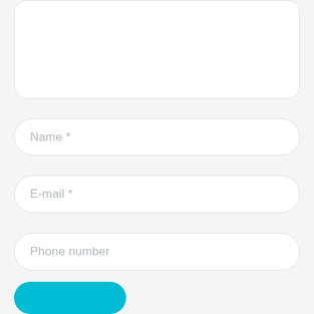[Figure (screenshot): A white rounded rectangle textarea input field (empty, no placeholder text visible), partially cut at the top of the page]
Name *
E-mail *
Phone number
[Figure (screenshot): A teal/cyan rounded submit button partially visible at the bottom of the page]